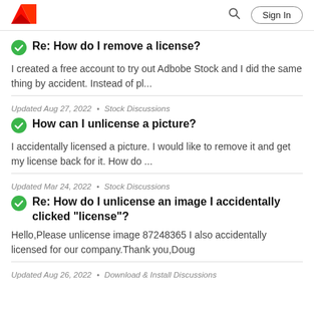Adobe | Sign In
Re: How do I remove a license?
I created a free account to try out Adbobe Stock and I did the same thing by accident. Instead of pl...
Updated Aug 27, 2022 • Stock Discussions
How can I unlicense a picture?
I accidentally licensed a picture. I would like to remove it and get my license back for it. How do ...
Updated Mar 24, 2022 • Stock Discussions
Re: How do I unlicense an image I accidentally clicked "license"?
Hello,Please unlicense image 87248365 I also accidentally licensed for our company.Thank you,Doug
Updated Aug 26, 2022 • Download & Install Discussions